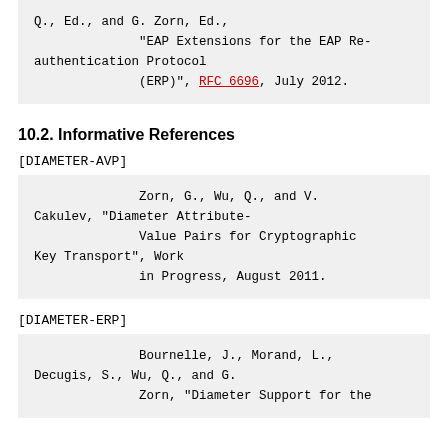Q., Ed., and G. Zorn, Ed., "EAP Extensions for the EAP Re-authentication Protocol (ERP)", RFC 6696, July 2012.
10.2. Informative References
[DIAMETER-AVP]
Zorn, G., Wu, Q., and V. Cakulev, "Diameter Attribute-Value Pairs for Cryptographic Key Transport", Work in Progress, August 2011.
[DIAMETER-ERP]
Bournelle, J., Morand, L., Decugis, S., Wu, Q., and G. Zorn, "Diameter Support for the